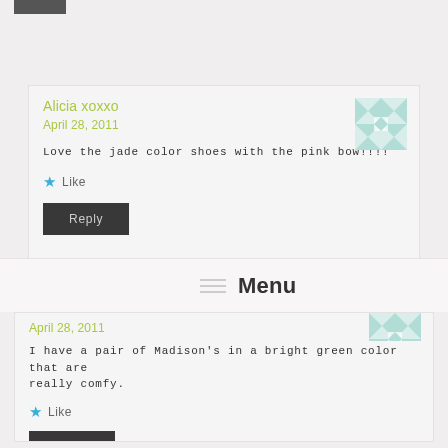Alicia xoxxo
April 28, 2011
Love the jade color shoes with the pink bow!!!!
Like
Reply
Menu
April 28, 2011
I have a pair of Madison's in a bright green color that are really comfy.
Like
Reply